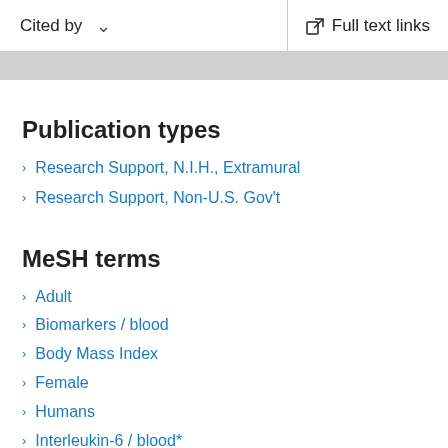Cited by   Full text links
Publication types
Research Support, N.I.H., Extramural
Research Support, Non-U.S. Gov't
MeSH terms
Adult
Biomarkers / blood
Body Mass Index
Female
Humans
Interleukin-6 / blood*
Linear Models
Longitudinal Studies